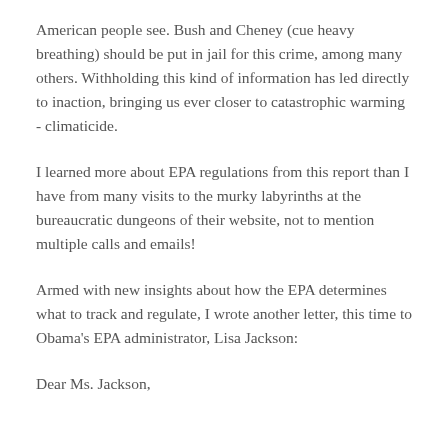American people see. Bush and Cheney (cue heavy breathing) should be put in jail for this crime, among many others. Withholding this kind of information has led directly to inaction, bringing us ever closer to catastrophic warming - climaticide.
I learned more about EPA regulations from this report than I have from many visits to the murky labyrinths at the bureaucratic dungeons of their website, not to mention multiple calls and emails!
Armed with new insights about how the EPA determines what to track and regulate, I wrote another letter, this time to Obama's EPA administrator, Lisa Jackson:
Dear Ms. Jackson,